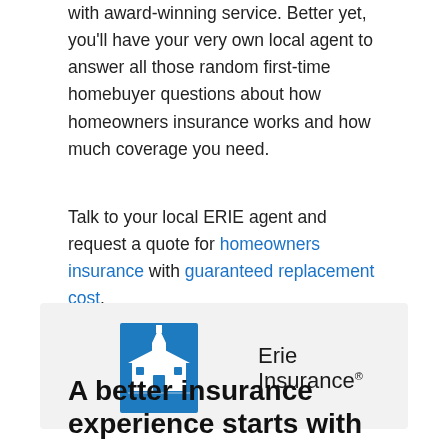with award-winning service. Better yet, you'll have your very own local agent to answer all those random first-time homebuyer questions about how homeowners insurance works and how much coverage you need.
Talk to your local ERIE agent and request a quote for homeowners insurance with guaranteed replacement cost.
[Figure (logo): Erie Insurance logo — blue square icon with white church/building illustration, beside 'Erie Insurance' text with registered trademark symbol]
A better insurance experience starts with